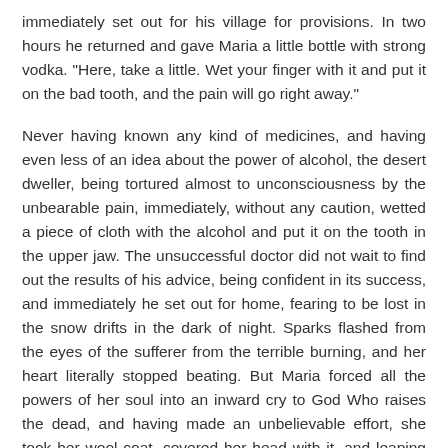immediately set out for his village for provisions. In two hours he returned and gave Maria a little bottle with strong vodka. "Here, take a little. Wet your finger with it and put it on the bad tooth, and the pain will go right away."
Never having known any kind of medicines, and having even less of an idea about the power of alcohol, the desert dweller, being tortured almost to unconsciousness by the unbearable pain, immediately, without any caution, wetted a piece of cloth with the alcohol and put it on the tooth in the upper jaw. The unsuccessful doctor did not wait to find out the results of his advice, being confident in its success, and immediately he set out for home, fearing to be lost in the snow drifts in the dark of night. Sparks flashed from the eyes of the sufferer from the terrible burning, and her heart literally stopped beating. But Maria forced all the powers of her soul into an inward cry to God Who raises the dead, and having made an unbelievable effort, she took her wool coat, covered her head with it, and leaping out of the hut, she began to wipe her cheek with snow, spitting out of her mouth the frightful medicine. Fearing a sudden death without the Church's prayers and help, and shedding uncontrollable